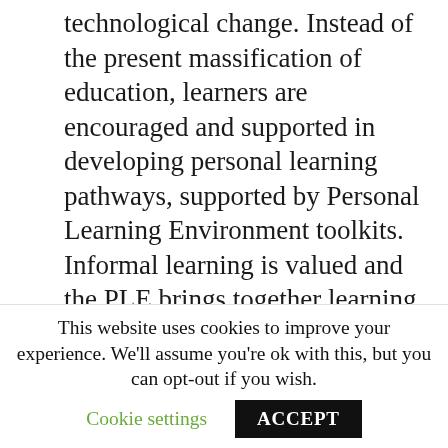technological change. Instead of the present massification of education, learners are encouraged and supported in developing personal learning pathways, supported by Personal Learning Environment toolkits. Informal learning is valued and the PLE brings together learning for formal learning programmes, form the home and from work.
2. The schooling system continues to be the subject of reform but fails to recognise the new ways individuals are using technology for learning. Formal education and informal learning become ever more separate. Whilst the education system is based on formal
This website uses cookies to improve your experience. We'll assume you're ok with this, but you can opt-out if you wish. Cookie settings ACCEPT